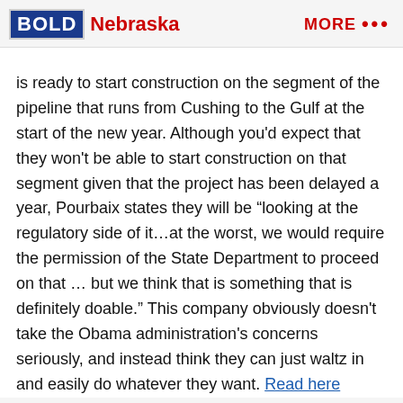BOLD Nebraska   MORE •••
is ready to start construction on the segment of the pipeline that runs from Cushing to the Gulf at the start of the new year. Although you'd expect that they won't be able to start construction on that segment given that the project has been delayed a year, Pourbaix states they will be “looking at the regulatory side of it…at the worst, we would require the permission of the State Department to proceed on that … but we think that is something that is definitely doable.” This company obviously doesn't take the Obama administration's concerns seriously, and instead think they can just waltz in and easily do whatever they want. Read here
We Don’t Trust TransCanada: South Dakota has realized TransCanada has only paid about a third of the amount of property taxes that they had said the state would receive